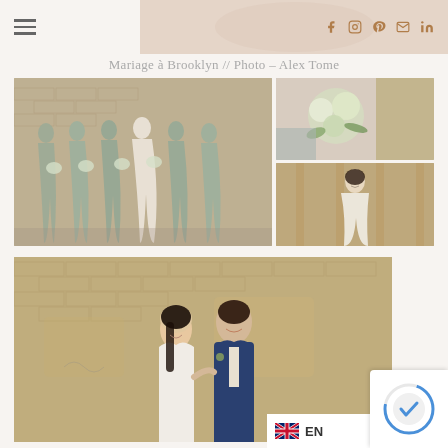Navigation header with hamburger menu and social icons (Facebook, Instagram, Pinterest, Email, LinkedIn)
Mariage à Brooklyn // Photo – Alex Tome
[Figure (photo): Group of bridesmaids in grey/sage dresses holding white bouquets, standing in front of a rustic brick wall]
[Figure (photo): Close-up of a bouquet with white flowers and greenery held by a bridesmaid in grey dress]
[Figure (photo): Bride in white dress standing alone in front of rustic brick/wood wall]
[Figure (photo): Couple (bride and groom) smiling at each other in front of a large weathered brick wall]
EN
[Figure (other): reCAPTCHA badge]